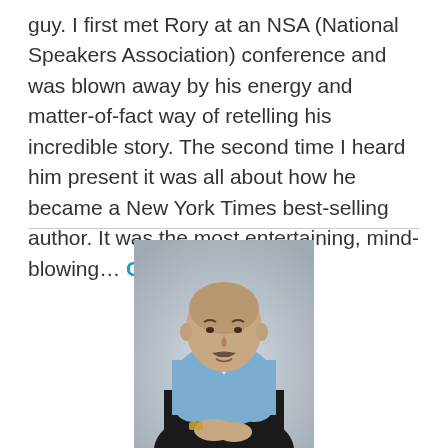guy. I first met Rory at an NSA (National Speakers Association) conference and was blown away by his energy and matter-of-fact way of retelling his incredible story. The second time I heard him present it was all about how he became a New York Times best-selling author. It was the most entertaining, mind-blowing… Continue reading
[Figure (photo): A bald man with a mustache wearing a light blue button-down shirt, seated in a relaxed pose with arms resting on knees, against a neutral grey background. Professional headshot style photo.]